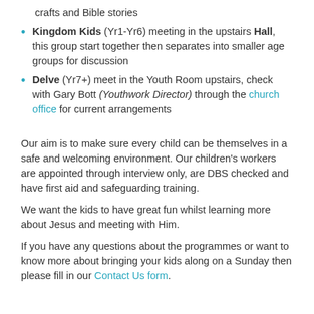crafts and Bible stories
Kingdom Kids (Yr1-Yr6) meeting in the upstairs Hall, this group start together then separates into smaller age groups for discussion
Delve (Yr7+) meet in the Youth Room upstairs, check with Gary Bott (Youthwork Director) through the church office for current arrangements
Our aim is to make sure every child can be themselves in a safe and welcoming environment. Our children's workers are appointed through interview only, are DBS checked and have first aid and safeguarding training.
We want the kids to have great fun whilst learning more about Jesus and meeting with Him.
If you have any questions about the programmes or want to know more about bringing your kids along on a Sunday then please fill in our Contact Us form.